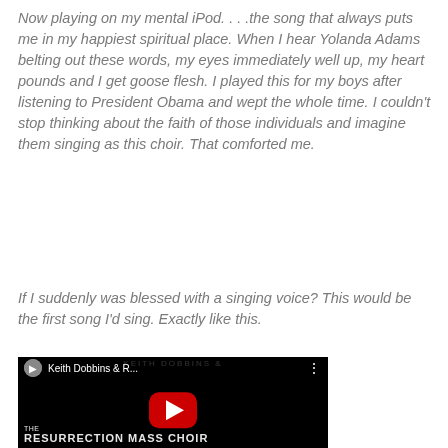Now playing on my mental iPod. . . .the song that always puts me in my happiest spiritual place. When I hear Yolanda Adams belting out these words, my eyes immediately well up, my heart pounds and I get goose flesh. I played this for my boys after listening to President Obama and wept the whole time. I couldn't stop thinking about the faith of those individuals and imagine them singing as this choir. That comforted me.
If I suddenly was blessed with a singing voice? This would be the first song I'd sing. Exactly like this.
[Figure (screenshot): Embedded YouTube video thumbnail showing Keith Dobbins & R... (Resurrection Mass Choir) with a red play button in the center. The video shows a large choir group. Text at bottom reads 'THE RESURRECTION MASS CHOIR'. Header text reads 'KEITH DOBBINS &' in faded letters.]